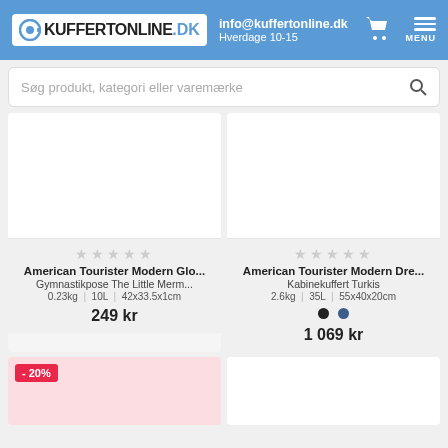KUFFERTONLINE.DK | info@kuffertonline.dk | Hverdage 10-15 | MENU
Søg produkt, kategori eller varemærke
[Figure (other): Product card - American Tourister Modern Glo... Gymnastikpose The Little Merm... 0.23kg | 10L | 42x33.5x1cm - 249 kr]
[Figure (other): Product card - American Tourister Modern Dre... Kabinekuffert Turkis 2.6kg | 35L | 55x40x20cm - 1 069 kr]
[Figure (other): Product card with -20% discount badge, bottom left partial view]
[Figure (other): Product card bottom right partial view]